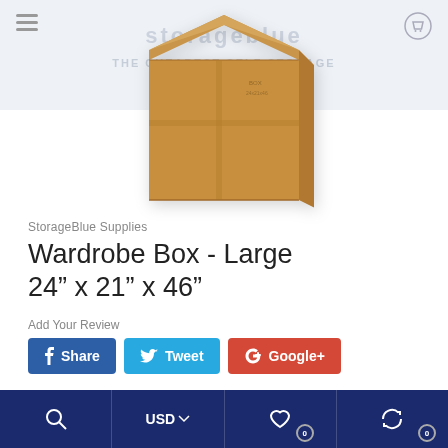[Figure (screenshot): Website header with hamburger menu, StorageBlue logo watermark text 'THE CHEAPEST SELF STORAGE & MOVING SUPPLIES', and cart icon]
[Figure (photo): Large cardboard wardrobe moving box, tan/brown color, shown from a slightly elevated angle]
StorageBlue Supplies
Wardrobe Box - Large 24" x 21" x 46"
Add Your Review
[Figure (screenshot): Social sharing buttons: Facebook Share (dark blue), Tweet (light blue), Google+ (red)]
[Figure (screenshot): Bottom navigation bar with search icon, USD currency selector, heart/wishlist icon with badge 0, and refresh/cart icon with badge 0]